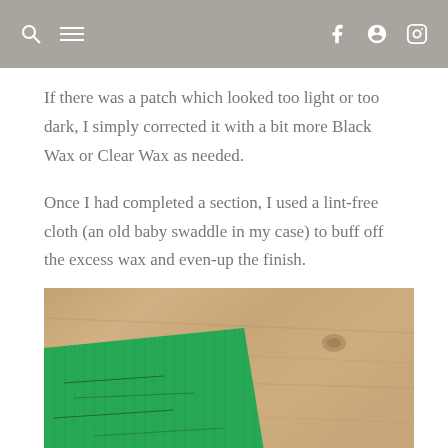navigation bar with search, menu, facebook, pinterest, instagram icons
If there was a patch which looked too light or too dark, I simply corrected it with a bit more Black Wax or Clear Wax as needed.
Once I had completed a section, I used a lint-free cloth (an old baby swaddle in my case) to buff off the excess wax and even-up the finish.
[Figure (photo): Close-up photo of a green painted wooden surface with black wax finish, placed on a light wood grain background]